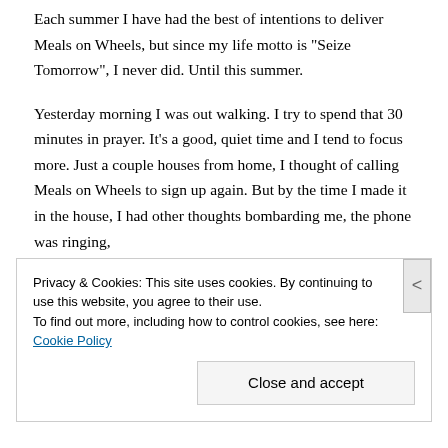Each summer I have had the best of intentions to deliver Meals on Wheels, but since my life motto is “Seize Tomorrow”, I never did.  Until this summer.
Yesterday morning I was out walking.  I try to spend that 30 minutes in prayer.  It’s a good, quiet time and I tend to focus more.  Just a couple houses from home, I thought of calling Meals on Wheels to sign up again.  But by the time I made it in the house, I had other thoughts bombarding me, the phone was ringing,
Privacy & Cookies: This site uses cookies. By continuing to use this website, you agree to their use.
To find out more, including how to control cookies, see here: Cookie Policy
Close and accept